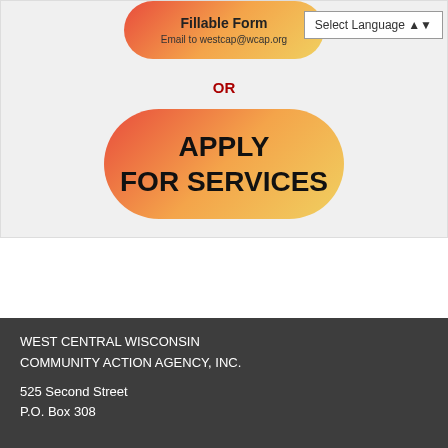[Figure (other): A pill-shaped button with gradient from red to yellow reading 'Fillable Form' with subtext 'Email to westcap@wcap.org']
Select Language
OR
[Figure (other): A large pill-shaped button with gradient from red to yellow reading 'APPLY FOR SERVICES']
WEST CENTRAL WISCONSIN
COMMUNITY ACTION AGENCY, INC.
525 Second Street
P.O. Box 308